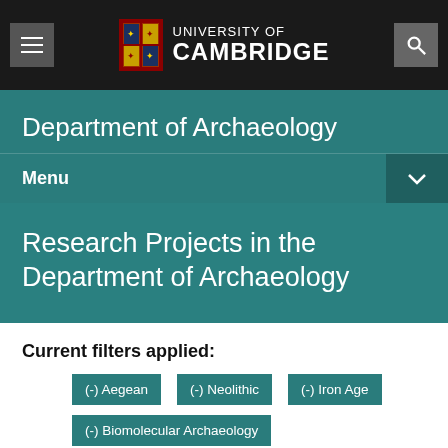UNIVERSITY OF CAMBRIDGE
Department of Archaeology
Menu
Research Projects in the Department of Archaeology
Current filters applied:
(-) Aegean
(-) Neolithic
(-) Iron Age
(-) Biomolecular Archaeology
Reset all